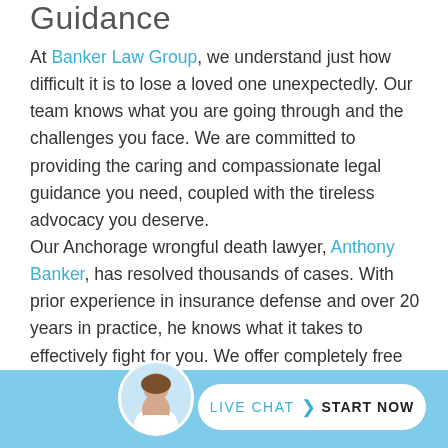Guidance
At Banker Law Group, we understand just how difficult it is to lose a loved one unexpectedly. Our team knows what you are going through and the challenges you face. We are committed to providing the caring and compassionate legal guidance you need, coupled with the tireless advocacy you deserve.
Our Anchorage wrongful death lawyer, Anthony Banker, has resolved thousands of cases. With prior experience in insurance defense and over 20 years in practice, he knows what it takes to effectively fight for you. We offer completely free initial consultations, as well as contingent fees so there are never any upfront or out-of-pocket expenses for you.
[Figure (infographic): Live chat button bar at the bottom with a circular avatar of a woman and a white rounded button saying LIVE CHAT > START NOW on a light blue background]